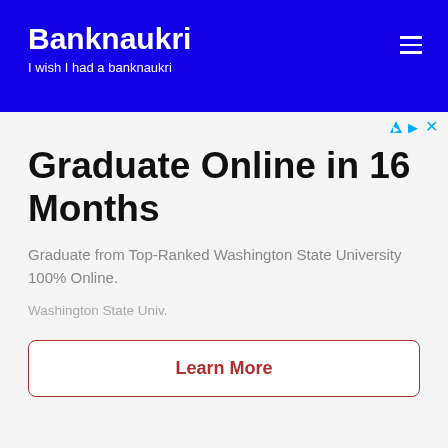Banknaukri
I wish I had a banknaukri
Graduate Online in 16 Months
Graduate from Top-Ranked Washington State University 100% Online.
Washington State Univ.
Learn More